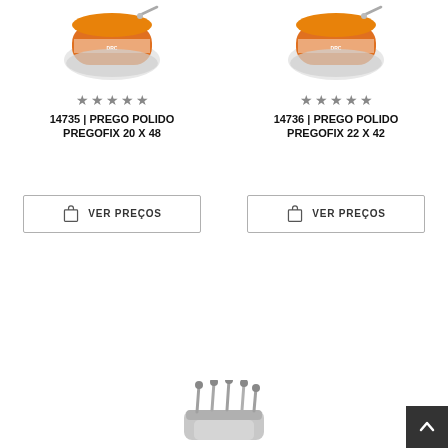[Figure (photo): Product photo: orange bag of nails (Pregofix 20x48), seen from above at angle]
★★★★★
14735 | PREGO POLIDO PREGOFIX 20 X 48
[Figure (other): VER PREÇOS button with shopping bag icon]
[Figure (photo): Product photo: orange bag of nails (Pregofix 22x42), seen from above at angle]
★★★★★
14736 | PREGO POLIDO PREGOFIX 22 X 42
[Figure (other): VER PREÇOS button with shopping bag icon]
[Figure (photo): Product photo (partial): metallic nails bundle at bottom center]
[Figure (other): Scroll to top button (dark gray, arrow up)]